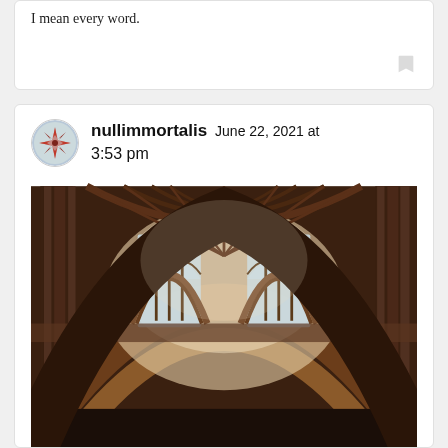I mean every word.
nullimmortalis June 22, 2021 at 3:53 pm
[Figure (photo): Interior of a Gothic cathedral showing stone arches, ribbed vaulting, columns, and two tall Gothic windows with tracery, photographed in sepia tone from below looking upward.]